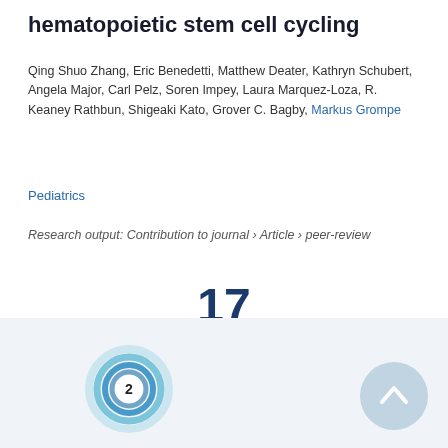hematopoietic stem cell cycling
Qing Shuo Zhang, Eric Benedetti, Matthew Deater, Kathryn Schubert, Angela Major, Carl Pelz, Soren Impey, Laura Marquez-Loza, R. Keaney Rathbun, Shigeaki Kato, Grover C. Bagby, Markus Grompe
Pediatrics
Research output: Contribution to journal › Article › peer-review
17 Scopus citations
[Figure (donut-chart): Donut chart showing 2 citations, rendered as a circular ring in teal/blue tones with the number 2 in the center.]